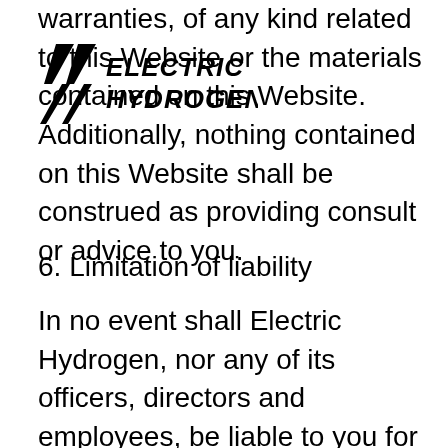warranties, of any kind related to this Website or the materials contained on this Website. Additionally, nothing contained on this Website shall be construed as providing consult or advice to you.
[Figure (logo): Electric Hydrogen logo — two stylized lightning bolt chevrons next to bold italic text reading ELECTRIC HYDROGEN]
6. Limitation of liability
In no event shall Electric Hydrogen, nor any of its officers, directors and employees, be liable to you for anything arising out of or in any way connected with your use of this Website, whether such liability is under contract, tort or otherwise, and Electric Hydrogen, including its officers, directors and